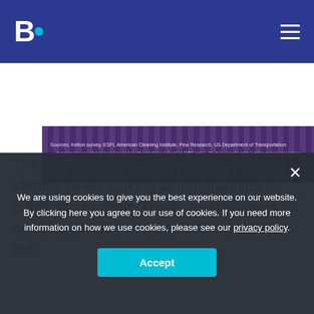B. [logo with hamburger menu]
[Figure (infographic): Bottom strip of an infographic with dark purple striped background showing sources: Kelton survey, ESFI, American Cleaning Institute, Pew Research, US Department of Transportation, with footnote text below.]
These are just the top four mistakes I identify when looking at infographics for publication online. There are designers creating brilliant infographics out there, but
We are using cookies to give you the best experience on our website. By clicking here you agree to our use of cookies. If you need more information on how we use cookies, please see our privacy policy.
Accept